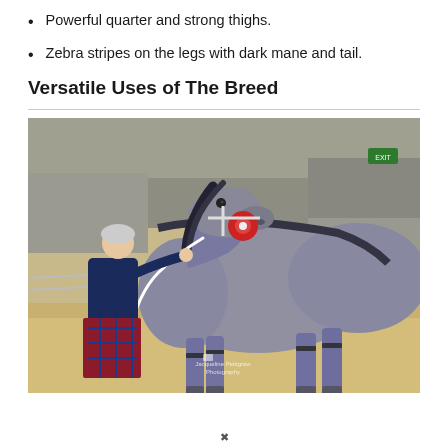Powerful quarter and strong thighs.
Zebra stripes on the legs with dark mane and tail.
Versatile Uses of The Breed
[Figure (photo): A grey/blue roan horse standing in an indoor show arena on sandy ground, being held by a woman in a dark coat and tartan skirt. The horse wears a red rosette/ribbon on its bridle. Watermark reads 'Jacqueline Pettigrew Photography'.]
✖